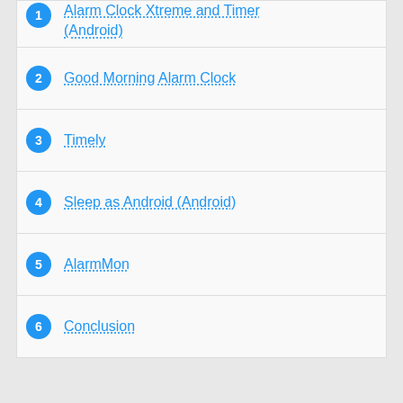1. Alarm Clock Xtreme and Timer (Android)
2. Good Morning Alarm Clock
3. Timely
4. Sleep as Android (Android)
5. AlarmMon
6. Conclusion